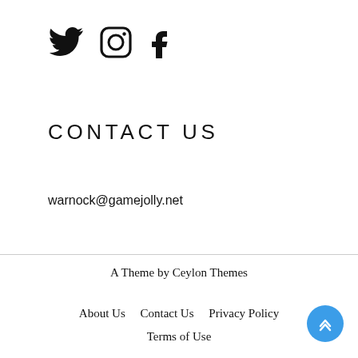[Figure (illustration): Social media icons: Twitter bird, Instagram camera, Facebook f — displayed as large black icons in a row]
CONTACT US
Email
warnock@gamejolly.net
A Theme by Ceylon Themes
About Us    Contact Us    Privacy Policy
Terms of Use